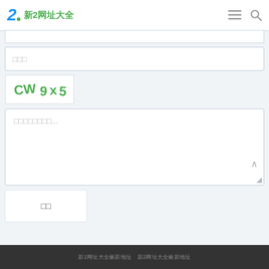新2网址大全
□□□
[Figure (other): CAPTCHA image showing handwritten text: CW9x5 in green on white background]
□□□□□□□□...
□□
新2网址大全最新地址　新2网址大全最新地址